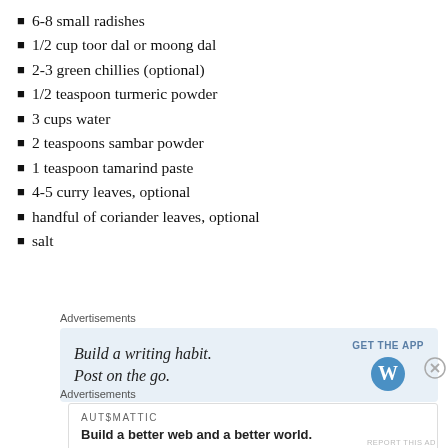6-8 small radishes
1/2 cup toor dal or moong dal
2-3 green chillies (optional)
1/2 teaspoon turmeric powder
3 cups water
2 teaspoons sambar powder
1 teaspoon tamarind paste
4-5 curry leaves, optional
handful of coriander leaves, optional
salt
Advertisements
[Figure (other): WordPress app advertisement: Build a writing habit. Post on the go. GET THE APP with WordPress logo.]
Advertisements
[Figure (other): Automattic advertisement: Build a better web and a better world.]